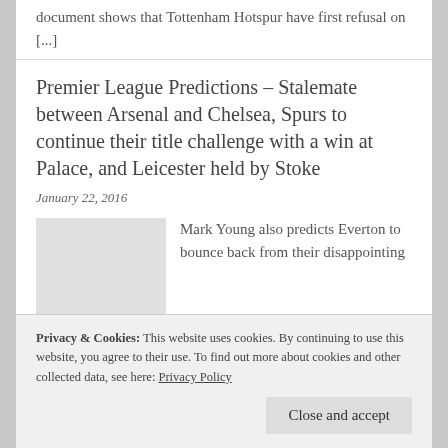document shows that Tottenham Hotspur have first refusal on [...]
Premier League Predictions – Stalemate between Arsenal and Chelsea, Spurs to continue their title challenge with a win at Palace, and Leicester held by Stoke
January 22, 2016
[Figure (photo): Thumbnail image placeholder]
Mark Young also predicts Everton to bounce back from their disappointing
Privacy & Cookies: This website uses cookies. By continuing to use this website, you agree to their use. To find out more about cookies and other collected data, see here: Privacy Policy
Close and accept